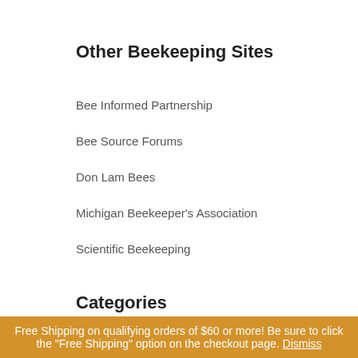Other Beekeeping Sites
Bee Informed Partnership
Bee Source Forums
Don Lam Bees
Michigan Beekeeper's Association
Scientific Beekeeping
Categories
Featured (29)
Our Blog (40)
Beekeeping (38)
Beekeeping Abroad (1)
Integrated Pest Management (1)
Free Shipping on qualifying orders of $60 or more! Be sure to click the "Free Shipping" option on the checkout page. Dismiss